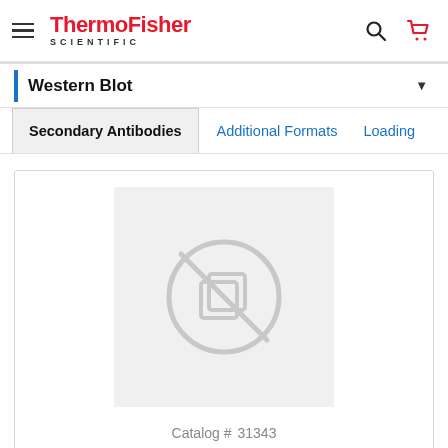ThermoFisher SCIENTIFIC
Western Blot
Secondary Antibodies	Additional Formats	Loading
[Figure (screenshot): Product image placeholder with a gray no-image icon (circle with diagonal slash through a layered square icon) on a light gray background]
Catalog # 31343